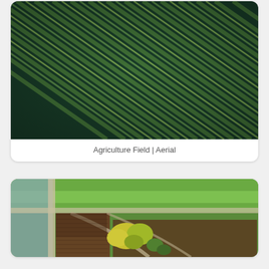[Figure (photo): Aerial photograph of an agriculture field showing diagonal rows of crops in dark green and lighter green/yellow tones]
Agriculture Field | Aerial
[Figure (photo): Aerial photograph showing agricultural land parcels with dirt paths, trees with yellow/green foliage, tilled brown soil, and green grass fields]